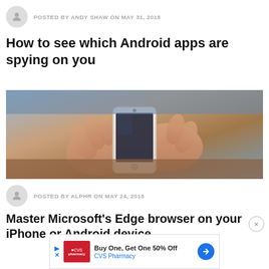POSTED BY ANDY SHAW ON MAY 31, 2018
How to see which Android apps are spying on you
[Figure (photo): Hands holding a smartphone, close-up photo with blurred background]
POSTED BY ALPHR ON MAY 24, 2018
Master Microsoft's Edge browser on your iPhone or Android device
[Figure (infographic): CVS Pharmacy advertisement banner: Buy One, Get One 50% Off]